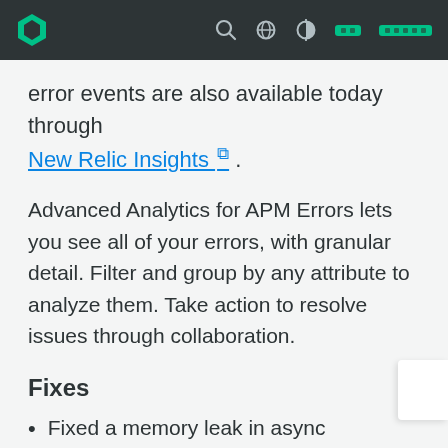New Relic documentation site header with logo, search, globe, contrast icons and redacted navigation badges
error events are also available today through New Relic Insights ⧉ .
Advanced Analytics for APM Errors lets you see all of your errors, with granular detail. Filter and group by any attribute to analyze them. Take action to resolve issues through collaboration.
Fixes
Fixed a memory leak in async continuation instrumentation for Jetty 7 and 8.